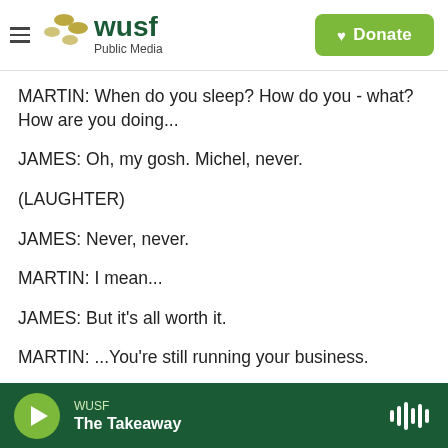WUSF Public Media — Donate
MARTIN: When do you sleep? How do you - what? How are you doing...
JAMES: Oh, my gosh. Michel, never.
(LAUGHTER)
JAMES: Never, never.
MARTIN: I mean...
JAMES: But it's all worth it.
MARTIN: ...You're still running your business.
WUSF — The Takeaway